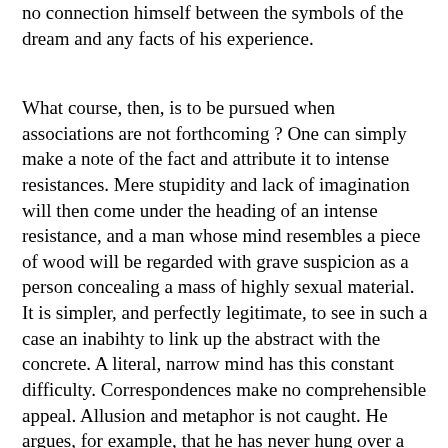no connection himself between the symbols of the dream and any facts of his experience.
What course, then, is to be pursued when associations are not forthcoming ? One can simply make a note of the fact and attribute it to intense resistances. Mere stupidity and lack of imagination will then come under the heading of an intense resistance, and a man whose mind resembles a piece of wood will be regarded with grave suspicion as a person concealing a mass of highly sexual material. It is simpler, and perfectly legitimate, to see in such a case an inabihty to link up the abstract with the concrete. A literal, narrow mind has this constant difficulty. Correspondences make no comprehensible appeal. Allusion and metaphor is not caught. He argues, for example, that he has never hung over a cliff, and therefore the dream has nothing to do with him. Of course, you may take the view that this way of arguing is all due to inner complexes and repressions. In some cases it certainly is. But when a man with a perfectly flat occiput, a high narrow forehead, and small bright eyes that rarely move, sits before you, it is possible that one is dealing with a type that has natural limitations. We are at liberty, then, to take the dream into our own hands, and see how it can be applied to the patient's situation. I have said the patient was not what